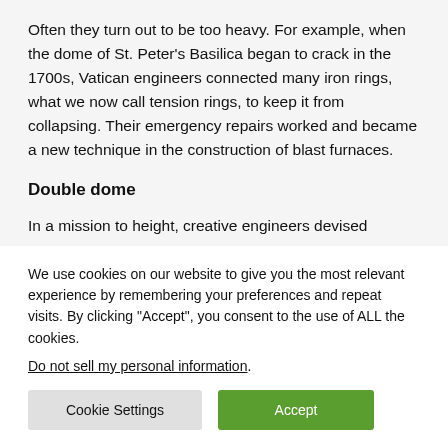Often they turn out to be too heavy. For example, when the dome of St. Peter's Basilica began to crack in the 1700s, Vatican engineers connected many iron rings, what we now call tension rings, to keep it from collapsing. Their emergency repairs worked and became a new technique in the construction of blast furnaces.
Double dome
In a mission to height, creative engineers devised
We use cookies on our website to give you the most relevant experience by remembering your preferences and repeat visits. By clicking “Accept”, you consent to the use of ALL the cookies.
Do not sell my personal information.